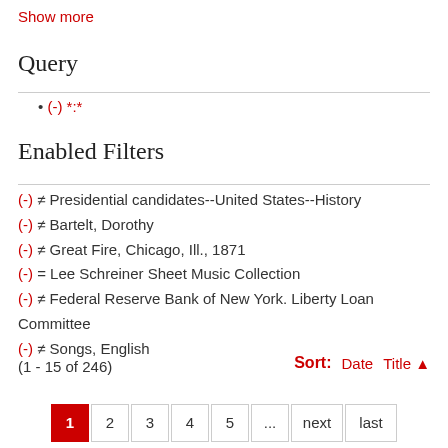Show more
Query
(-) *:*
Enabled Filters
(-) ≠ Presidential candidates--United States--History
(-) ≠ Bartelt, Dorothy
(-) ≠ Great Fire, Chicago, Ill., 1871
(-) = Lee Schreiner Sheet Music Collection
(-) ≠ Federal Reserve Bank of New York. Liberty Loan Committee
(-) ≠ Songs, English
(1 - 15 of 246)
Sort: Date Title ▲